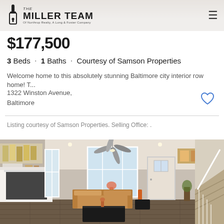The Miller Team — Of Northrop Realty, A Long & Foster Company
$177,500
3 Beds · 1 Baths · Courtesy of Samson Properties
Welcome home to this absolutely stunning Baltimore city interior row home! T...
1322 Winston Avenue,
Baltimore
Listing courtesy of Samson Properties. Selling Office: .
[Figure (photo): Interior photo of a renovated Baltimore row home living room with white fireplace, ceiling fan, bay window, caramel leather sofa, dark coffee table, and staircase on the right.]